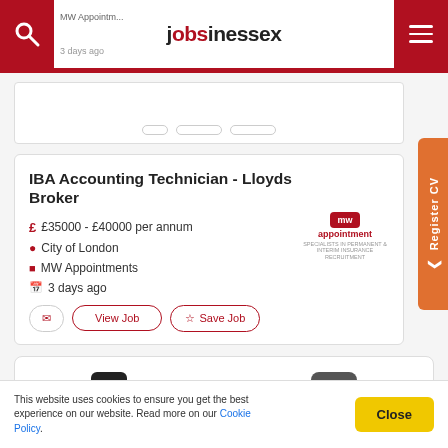jobsinessex — MW Appointments, 3 days ago
IBA Accounting Technician - Lloyds Broker
£35000 - £40000 per annum
City of London
MW Appointments
3 days ago
1 2 3 4 5 (pagination)
This website uses cookies to ensure you get the best experience on our website. Read more on our Cookie Policy.